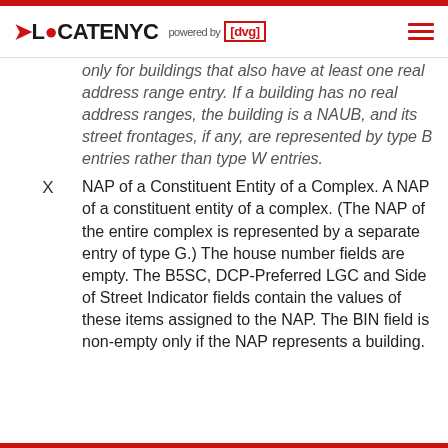LOCATENYC powered by [dvg]
only for buildings that also have at least one real address range entry. If a building has no real address ranges, the building is a NAUB, and its street frontages, if any, are represented by type B entries rather than type W entries.
X — NAP of a Constituent Entity of a Complex. A NAP of a constituent entity of a complex. (The NAP of the entire complex is represented by a separate entry of type G.) The house number fields are empty. The B5SC, DCP-Preferred LGC and Side of Street Indicator fields contain the values of these items assigned to the NAP. The BIN field is non-empty only if the NAP represents a building.